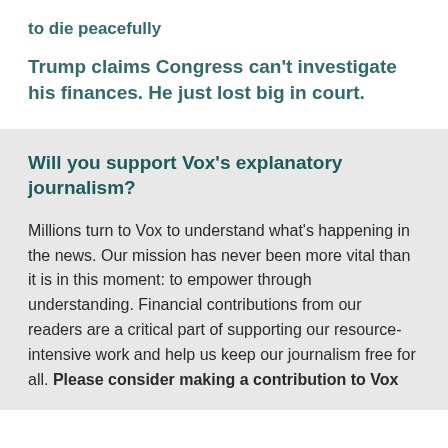to die peacefully
Trump claims Congress can't investigate his finances. He just lost big in court.
Will you support Vox's explanatory journalism?
Millions turn to Vox to understand what's happening in the news. Our mission has never been more vital than it is in this moment: to empower through understanding. Financial contributions from our readers are a critical part of supporting our resource-intensive work and help us keep our journalism free for all. Please consider making a contribution to Vox